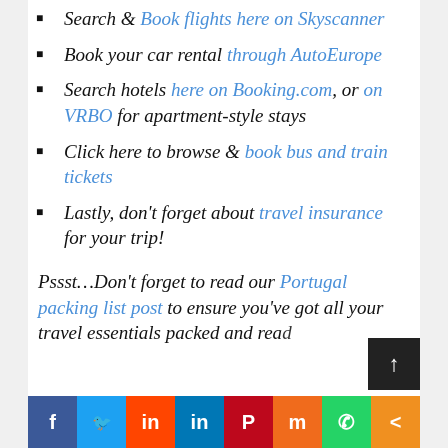Search & Book flights here on Skyscanner
Book your car rental through AutoEurope
Search hotels here on Booking.com, or on VRBO for apartment-style stays
Click here to browse & book bus and train tickets
Lastly, don't forget about travel insurance for your trip!
Pssst…Don't forget to read our Portugal packing list post to ensure you've got all your travel essentials packed and ready
Social share bar: Facebook, Twitter, Reddit, LinkedIn, Pinterest, Mix, WhatsApp, Share